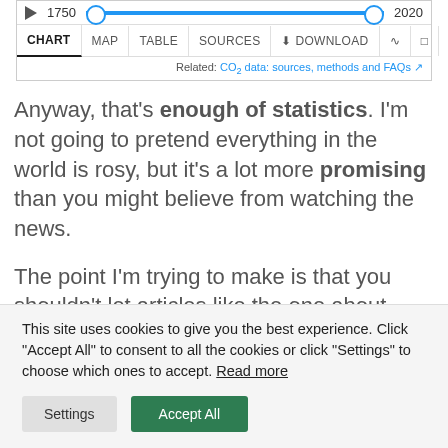[Figure (screenshot): Chart toolbar with year slider from 1750 to 2020, navigation tabs (CHART, MAP, TABLE, SOURCES, DOWNLOAD, share, fullscreen), and a related CO2 data link]
Anyway, that’s enough of statistics. I’m not going to pretend everything in the world is rosy, but it’s a lot more promising than you might believe from watching the news.
The point I’m trying to make is that you shouldn’t let articles like the one about Horseshoe Bend
This site uses cookies to give you the best experience. Click “Accept All” to consent to all the cookies or click “Settings” to choose which ones to accept. Read more